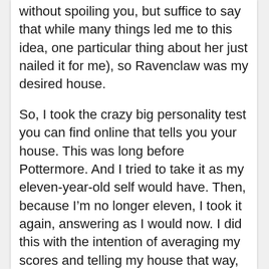without spoiling you, but suffice to say that while many things led me to this idea, one particular thing about her just nailed it for me), so Ravenclaw was my desired house.
So, I took the crazy big personality test you can find online that tells you your house. This was long before Pottermore. And I tried to take it as my eleven-year-old self would have. Then, because I’m no longer eleven, I took it again, answering as I would now. I did this with the intention of averaging my scores and telling my house that way, since I was still undecided. I realized somewhere along the way through the crazy big test (it’s, like, a hundred questions and pretty intense) that I was